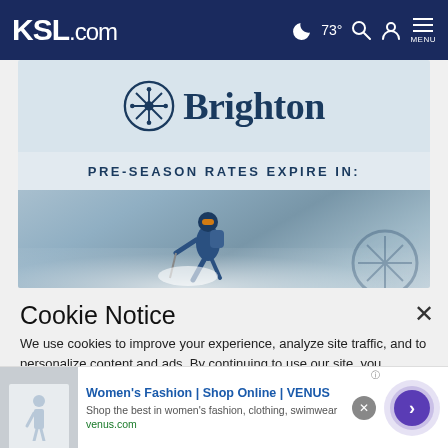KSL.com  ☽ 73° 🔍 👤 MENU
[Figure (photo): Brighton ski resort advertisement showing the Brighton logo with snowflake icon, text 'PRE-SEASON RATES EXPIRE IN:', and a skier in powder snow]
Cookie Notice
We use cookies to improve your experience, analyze site traffic, and to personalize content and ads. By continuing to use our site, you consent to our use of cookies. Please visit our Terms of Use and Privacy Policy for more information
[Figure (screenshot): Bottom ad banner: Women's Fashion | Shop Online | VENUS. Shop the best in women's fashion, clothing, swimwear. venus.com]